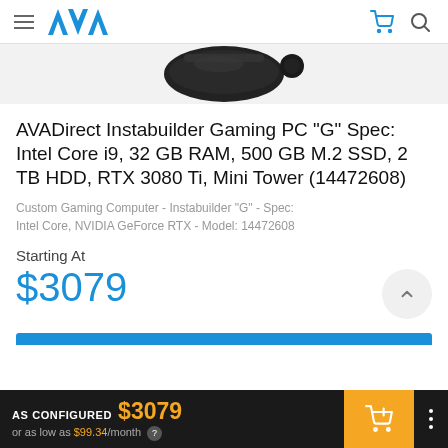AVA logo navigation header with hamburger menu, cart icon, and search icon
[Figure (photo): Partial view of a black gaming PC tower from above, showing the top portion of the case on a light gray background]
AVADirect Instabuilder Gaming PC "G" Spec: Intel Core i9, 32 GB RAM, 500 GB M.2 SSD, 2 TB HDD, RTX 3080 Ti, Mini Tower (14472608)
Custom Gaming Computer - Instabuilder "G" - Spec: Intel Core, NVIDIA GeForce RTX - Model: 14472608
Starting At
$3079
AS CONFIGURED $3079 or as low as $99.34/month